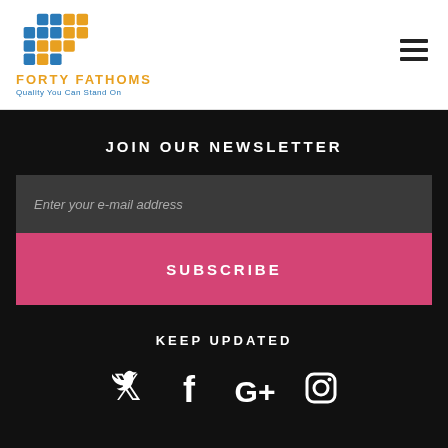[Figure (logo): Forty Fathoms logo - grid/brick pattern in blue and orange, with company name 'FORTY FATHOMS' in orange and tagline 'Quality You Can Stand On' in blue]
JOIN OUR NEWSLETTER
Enter your e-mail address
SUBSCRIBE
KEEP UPDATED
[Figure (illustration): Social media icons: Twitter bird, Facebook f, Google G+, Instagram camera]